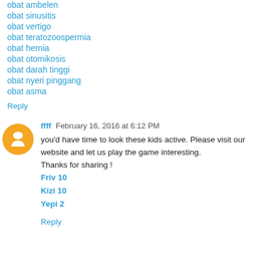obat ambelen
obat sinusitis
obat vertigo
obat teratozoospermia
obat hernia
obat otomikosis
obat darah tinggi
obat nyeri pinggang
obat asma
Reply
ffff February 16, 2016 at 6:12 PM
you'd have time to look these kids active. Please visit our website and let us play the game interesting.
Thanks for sharing !
Friv 10
Kizi 10
Yepi 2
Reply